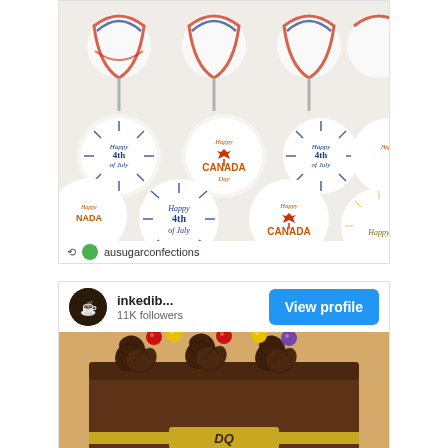[Figure (photo): Instagram repost photo showing decorated cookies/treats with 'Happy 4th of July' and 'Happy Canada Day' designs in red, white, blue and orange colors. Footer shows repost icon and username 'ausugarconfections'.]
[Figure (photo): Instagram sponsored post card for 'inkedib...' with 11K followers and a 'View profile' button. Below is a photo of a chocolate cake with chocolate rosette frosting topped with colorful M&M candies in red, yellow, and purple.]